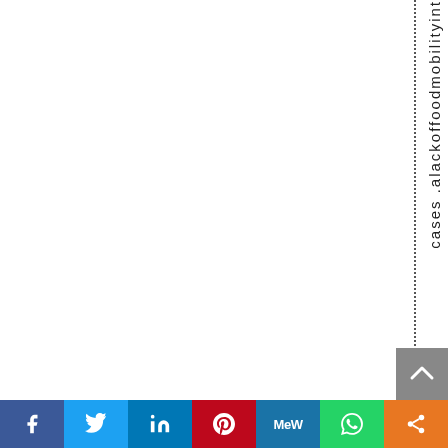cases .alackoffoodmobilityint
[Figure (other): Social media share bar with Facebook, Twitter, LinkedIn, Pinterest, MeWe, WhatsApp, and share buttons]
[Figure (other): Gray scroll-to-top button with upward chevron arrow]